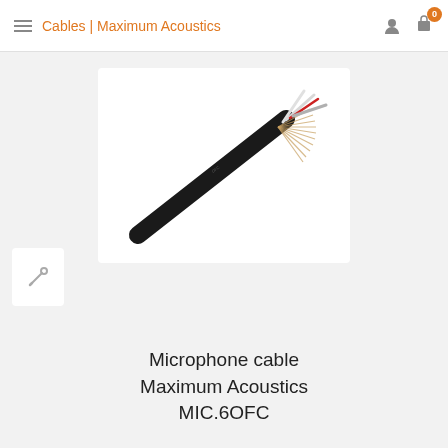Cables | Maximum Acoustics
[Figure (photo): A black microphone cable with stripped end showing white, red, and gray internal wires fanning out, photographed diagonally on white background.]
Microphone cable Maximum Acoustics MIC.6OFC